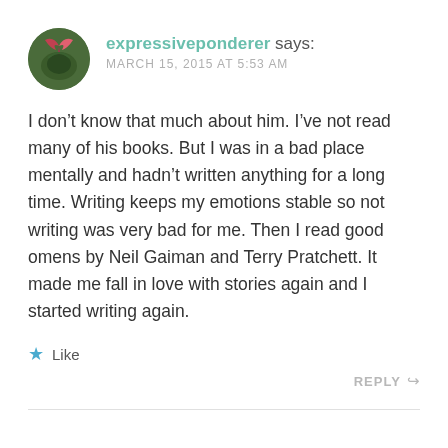expressiveponderer says: MARCH 15, 2015 AT 5:53 AM
I don't know that much about him. I've not read many of his books. But I was in a bad place mentally and hadn't written anything for a long time. Writing keeps my emotions stable so not writing was very bad for me. Then I read good omens by Neil Gaiman and Terry Pratchett. It made me fall in love with stories again and I started writing again.
Like
REPLY